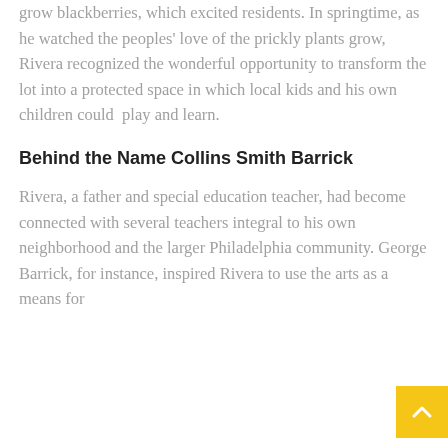grow blackberries, which excited residents. In springtime, as he watched the peoples' love of the prickly plants grow, Rivera recognized the wonderful opportunity to transform the lot into a protected space in which local kids and his own children could  play and learn.
Behind the Name Collins Smith Barrick
Rivera, a father and special education teacher, had become connected with several teachers integral to his own neighborhood and the larger Philadelphia community. George Barrick, for instance, inspired Rivera to use the arts as a means for